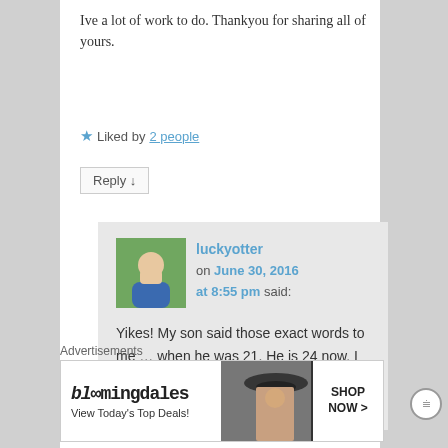Ive a lot of work to do. Thankyou for sharing all of yours.
★ Liked by 2 people
Reply ↓
luckyotter on June 30, 2016 at 8:55 pm said:
Yikes! My son said those exact words to me ... when he was 21. He is 24 now. I don't *think* he has NPD! I hope not! (I don't think so)
Advertisements
[Figure (other): Bloomingdales advertisement banner: 'View Today's Top Deals!' with SHOP NOW > button and woman in hat image]